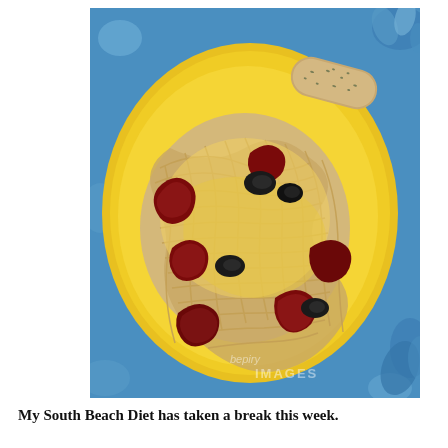[Figure (photo): A yellow plate with spaghetti pasta topped with grated parmesan cheese, sun-dried tomatoes, and black olives, with a breadstick/bread roll on the side. The plate sits on a blue floral tablecloth. A watermark reading 'IMAGES' is visible in the lower right.]
My South Beach Diet has taken a break this week.